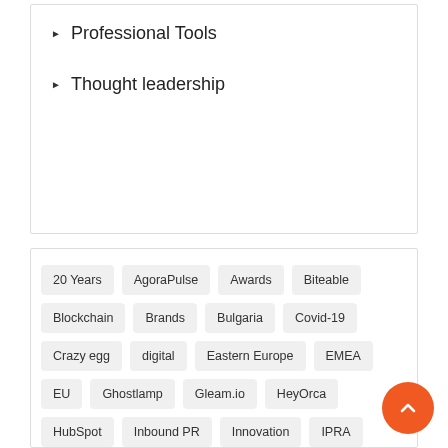Professional Tools
Thought leadership
20 Years AgoraPulse Awards Biteable Blockchain Brands Bulgaria Covid-19 Crazy egg digital Eastern Europe EMEA EU Ghostlamp Gleam.io HeyOrca HubSpot Inbound PR Innovation IPRA Management Marketing Micro influencing Monday Neticle Nike Pandemic Party Personal Tools Positive PR Professional Tools Prowly Repeat